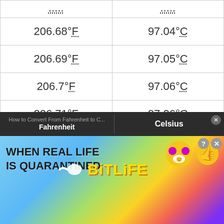| Fahrenheit | Celsius |
| --- | --- |
| ... | ... |
| 206.68°F | 97.04°C |
| 206.69°F | 97.05°C |
| 206.7°F | 97.06°C |
| 206.71°F | 97.06°C |
| 206.72°F | 97.07°C |
| 206.73°F | 97.07°C |
| 206.74°F | 97.08°C |
[Figure (screenshot): Advertisement banner for BitLife mobile game with rainbow background, 'WHEN REAL LIFE IS QUARANTINED' text, and BitLife logo/mascots]